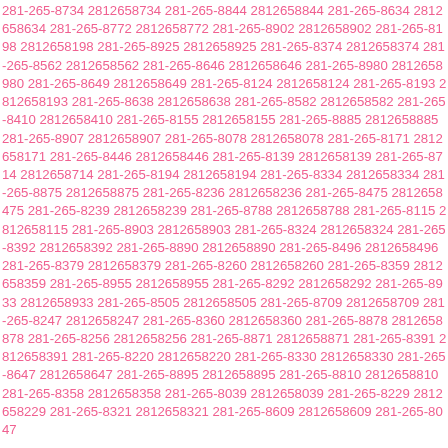281-265-8734 2812658734 281-265-8844 2812658844 281-265-8634 2812658634 281-265-8772 2812658772 281-265-8902 2812658902 281-265-8198 2812658198 281-265-8925 2812658925 281-265-8374 2812658374 281-265-8562 2812658562 281-265-8646 2812658646 281-265-8980 2812658980 281-265-8649 2812658649 281-265-8124 2812658124 281-265-8193 2812658193 281-265-8638 2812658638 281-265-8582 2812658582 281-265-8410 2812658410 281-265-8155 2812658155 281-265-8885 2812658885 281-265-8907 2812658907 281-265-8078 2812658078 281-265-8171 2812658171 281-265-8446 2812658446 281-265-8139 2812658139 281-265-8714 2812658714 281-265-8194 2812658194 281-265-8334 2812658334 281-265-8875 2812658875 281-265-8236 2812658236 281-265-8475 2812658475 281-265-8239 2812658239 281-265-8788 2812658788 281-265-8115 2812658115 281-265-8903 2812658903 281-265-8324 2812658324 281-265-8392 2812658392 281-265-8890 2812658890 281-265-8496 2812658496 281-265-8379 2812658379 281-265-8260 2812658260 281-265-8359 2812658359 281-265-8955 2812658955 281-265-8292 2812658292 281-265-8933 2812658933 281-265-8505 2812658505 281-265-8709 2812658709 281-265-8247 2812658247 281-265-8360 2812658360 281-265-8878 2812658878 281-265-8256 2812658256 281-265-8871 2812658871 281-265-8391 2812658391 281-265-8220 2812658220 281-265-8330 2812658330 281-265-8647 2812658647 281-265-8895 2812658895 281-265-8810 2812658810 281-265-8358 2812658358 281-265-8039 2812658039 281-265-8229 2812658229 281-265-8321 2812658321 281-265-8609 2812658609 281-265-8047